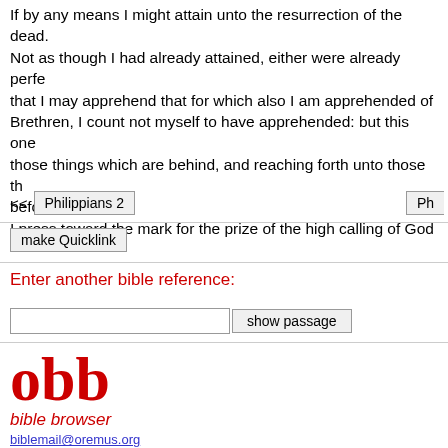If by any means I might attain unto the resurrection of the dead. Not as though I had already attained, either were already perfect: but I follow after, that I may apprehend that for which also I am apprehended of Christ Jesus. Brethren, I count not myself to have apprehended: but this one thing I do, forgetting those things which are behind, and reaching forth unto those things which are before, I press toward the mark for the prize of the high calling of God
<< Philippians 2 | Ph
make Quicklink
Enter another bible reference:
show passage
obb
bible browser
biblemail@oremus.org
v 2.9.2
30 June 2021